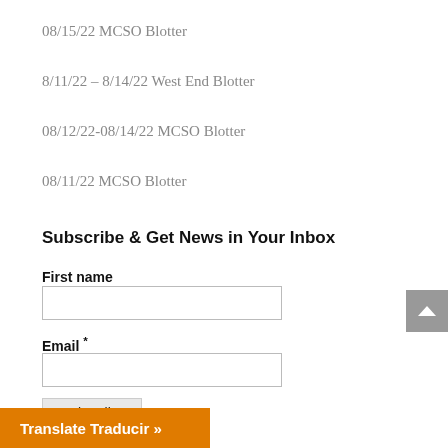08/15/22 MCSO Blotter
8/11/22 – 8/14/22 West End Blotter
08/12/22-08/14/22 MCSO Blotter
08/11/22 MCSO Blotter
Subscribe & Get News in Your Inbox
First name
Email *
Subscribe
Translate Traducir »